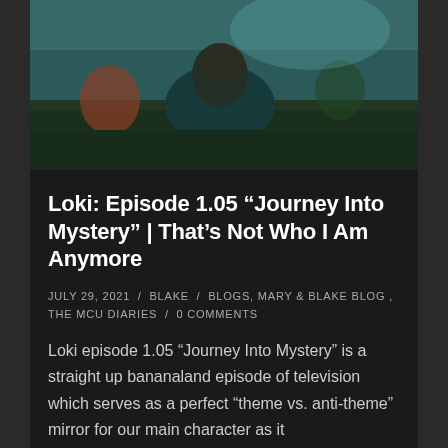[Figure (photo): Outdoor scene with people in a field with grass, person in teal/dark jacket in foreground, moody cinematic look]
Loki: Episode 1.05 “Journey Into Mystery” | That’s Not Who I Am Anymore
JULY 29, 2021 / BLAKE / BLOGS, MARY & BLAKE BLOG , THE MCU DIARIES / 0 COMMENTS
Loki episode 1.05 “Journey Into Mystery” is a straight up bananaland episode of television which serves as a perfect “theme vs. anti-theme” mirror for our main character as it